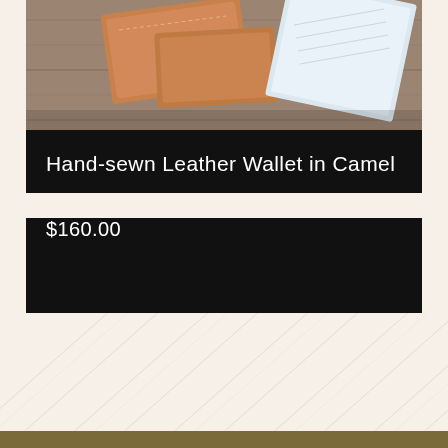[Figure (photo): Photo of leather wallets and a notebook on a wooden surface, viewed from above. Shows brown/tan leather goods on rustic wood background.]
Hand-sewn Leather Wallet in Camel
$160.00